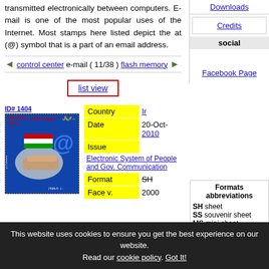transmitted electronically between computers. E-mail is one of the most popular uses of the Internet. Most stamps here listed depict the at (@) symbol that is a part of an email address.
← control center e-mail ( 11/38 ) flash memory →
list view
ID# 1404
[Figure (photo): Iranian postage stamp showing handshake over map with @ symbol and Iranian flag, 2000 Rls denomination]
| Field | Value |
| --- | --- |
| Country | Ir... |
| Date | 20-Oct-2010 |
| Issue | Electronic System of People and Gov. Communication |
| Format | SH... |
| Face v. | 2000 |
Downloads
Credits
social
Facebook Page
Formats abbreviations
SH sheet
SS souvenir sheet
MS mini sheet
ST se-tenant
TB tete beche
BK booklet
This website uses cookies to ensure you get the best experience on our website. Read our cookie policy. Got It!